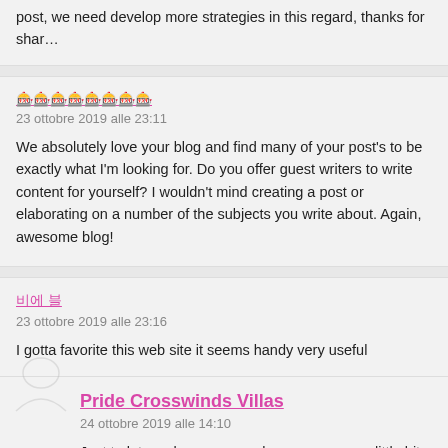post, we need develop more strategies in this regard, thanks for sharing.
23 ottobre 2019 alle 23:11
We absolutely love your blog and find many of your post's to be exactly what I'm looking for. Do you offer guest writers to write content for yourself? I wouldn't mind creating a post or elaborating on a number of the subjects you write about. Again, awesome blog!
23 ottobre 2019 alle 23:16
I gotta favorite this web site it seems handy very useful
Pride Crosswinds Villas
24 ottobre 2019 alle 14:10
Just to let you know your webpage appears a little bit unusual in Firefox on my notebook with Linux.